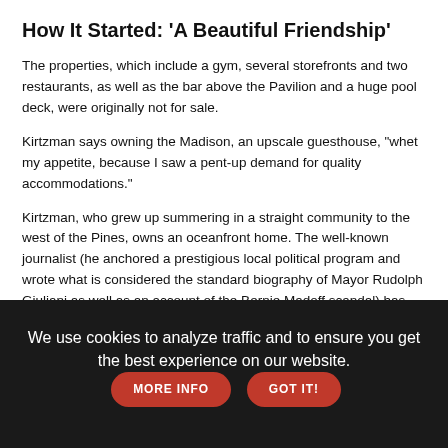How It Started: 'A Beautiful Friendship'
The properties, which include a gym, several storefronts and two restaurants, as well as the bar above the Pavilion and a huge pool deck, were originally not for sale.
Kirtzman says owning the Madison, an upscale guesthouse, "whet my appetite, because I saw a pent-up demand for quality accommodations."
Kirtzman, who grew up summering in a straight community to the west of the Pines, owns an oceanfront home. The well-known journalist (he anchored a prestigious local political program and wrote what is considered the standard biography of Mayor Rudolph Giuliani as well as an account of the Bernie Madoff scandal) has been running The Madison for the past few years.
We use cookies to analyze traffic and to ensure you get the best experience on our website.